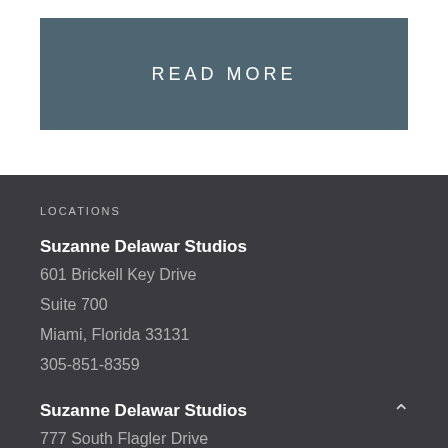READ MORE
LOCATIONS
Suzanne Delawar Studios
601 Brickell Key Drive
Suite 700
Miami, Florida 33131
305-851-8359
Suzanne Delawar Studios
777 South Flagler Drive
Suite 800W